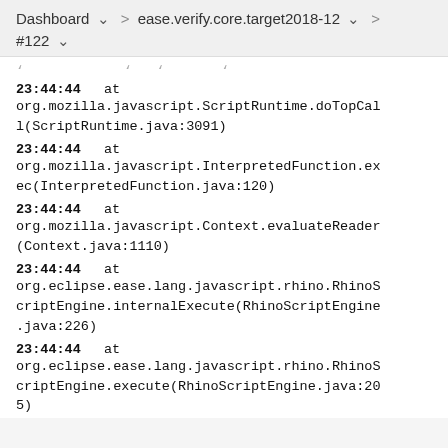Dashboard > ease.verify.core.target2018-12 > #122
23:44:44    at org.mozilla.javascript.ScriptRuntime.doTopCall(ScriptRuntime.java:3091)
23:44:44    at org.mozilla.javascript.InterpretedFunction.exec(InterpretedFunction.java:120)
23:44:44    at org.mozilla.javascript.Context.evaluateReader(Context.java:1110)
23:44:44    at org.eclipse.ease.lang.javascript.rhino.RhinoScriptEngine.internalExecute(RhinoScriptEngine.java:226)
23:44:44    at org.eclipse.ease.lang.javascript.rhino.RhinoScriptEngine.execute(RhinoScriptEngine.java:205)